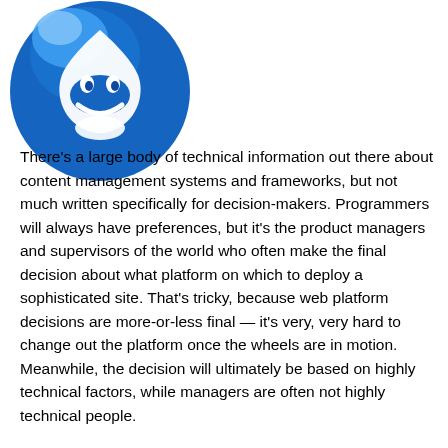[Figure (logo): Drupal logo — a blue sphere with a white stylized water drop / face shape in the center]
There's a large body of technical information out there about content management systems and frameworks, but not much written specifically for decision-makers. Programmers will always have preferences, but it's the product managers and supervisors of the world who often make the final decision about what platform on which to deploy a sophisticated site. That's tricky, because web platform decisions are more-or-less final — it's very, very hard to change out the platform once the wheels are in motion. Meanwhile, the decision will ultimately be based on highly technical factors, while managers are often not highly technical people.